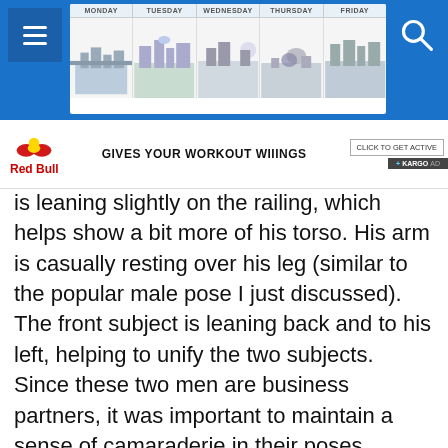[Figure (screenshot): Browser top navigation bar with blue background, hamburger menu icon on left, weekly calendar widget in center showing Monday through Friday with city skyline illustrations, and search icon on right]
[Figure (screenshot): Red Bull advertisement banner: Red Bull logo on left, 'GIVES YOUR WORKOUT WIIINGS' text in center, 'CLICK TO GET ACTIVE' button and 'KARGO AD' tag on right]
is leaning slightly on the railing, which helps show a bit more of his torso. His arm is casually resting over his leg (similar to the popular male pose I just discussed). The front subject is leaning back and to his left, helping to unify the two subjects. Since these two men are business partners, it was important to maintain a sense of camaraderie in their poses.
4. The walking subject